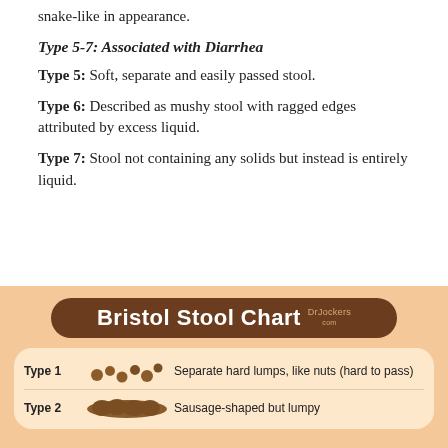snake-like in appearance.
Type 5-7: Associated with Diarrhea
Type 5: Soft, separate and easily passed stool.
Type 6: Described as mushy stool with ragged edges attributed by excess liquid.
Type 7: Stool not containing any solids but instead is entirely liquid.
[Figure (infographic): Bristol Stool Chart infographic showing Type 1 (Separate hard lumps, like nuts (hard to pass)) and Type 2 (Sausage-shaped but lumpy) with illustrations on a peach/tan background.]